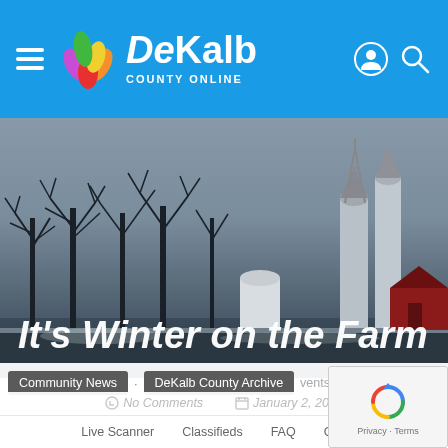DeKalb County Online
[Figure (photo): Winter farm scene with bare trees, grain silos, red barn, and overcast sky. The headline 'It's Winter on the Farm' overlaid in large white italic text.]
Community News · DeKalb County Archive · Events · Directory
No Comments    January 2, 2014
Live Scanner    Classifieds    FAQ    Contact    Privacy · Terms